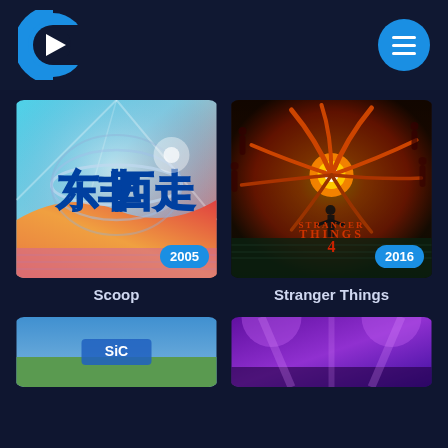[Figure (logo): Streaming app logo: blue C shape with white play triangle]
[Figure (screenshot): Hamburger menu button: blue circle with three horizontal white lines]
[Figure (screenshot): TV show card: Scoop (2005) - colorful Chinese game show style poster with Chinese characters and dynamic design]
Scoop
[Figure (screenshot): TV show card: Stranger Things (2016) - dark horror poster with tentacled gate and silhouette figure]
Stranger Things
[Figure (screenshot): Partial bottom card left: outdoor scene with SIC logo]
[Figure (screenshot): Partial bottom card right: purple stage/show backdrop]